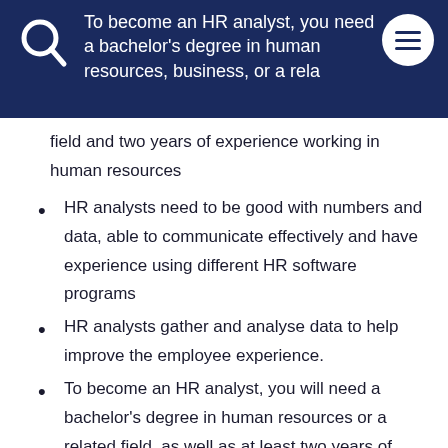To become an HR analyst, you need a bachelor's degree in human resources, business, or a related field and two years of experience working in human resources
field and two years of experience working in human resources
HR analysts need to be good with numbers and data, able to communicate effectively and have experience using different HR software programs
HR analysts gather and analyse data to help improve the employee experience.
To become an HR analyst, you will need a bachelor's degree in human resources or a related field, as well as at least two years of experience working in human resources
The importance of an HR analyst lies in their ability